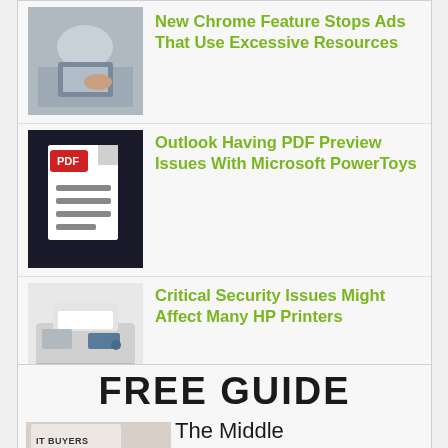New Chrome Feature Stops Ads That Use Excessive Resources
Outlook Having PDF Preview Issues With Microsoft PowerToys
Critical Security Issues Might Affect Many HP Printers
Trickbot Malware Went Into Hiding And Now It's Back
FREE GUIDE
The Middle Tennessee's Business